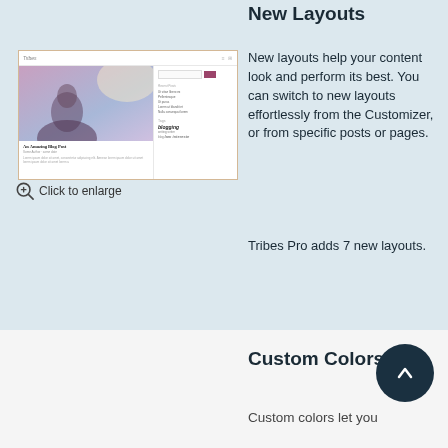New Layouts
[Figure (screenshot): Screenshot of a blog theme layout showing a blog post with hero image, search bar, sidebar links, and tag cloud]
Click to enlarge
New layouts help your content look and perform its best. You can switch to new layouts effortlessly from the Customizer, or from specific posts or pages.
Tribes Pro adds 7 new layouts.
Custom Colors
Custom colors let you